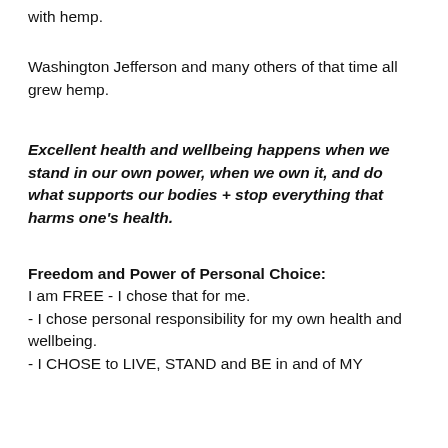with hemp.
Washington Jefferson and many others of that time all grew hemp.
Excellent health and wellbeing happens when we stand in our own power, when we own it, and do what supports our bodies + stop everything that harms one's health.
Freedom and Power of Personal Choice:
I am FREE - I chose that for me.
- I chose personal responsibility for my own health and wellbeing.
- I CHOSE to LIVE, STAND and BE in and of MY